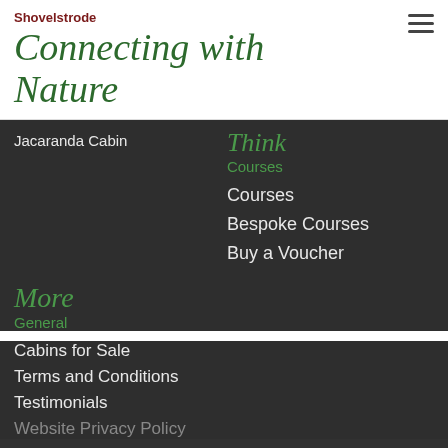Shovelstrode
Connecting with Nature
Jacaranda Cabin
Think
Courses
Courses
Bespoke Courses
Buy a Voucher
More
General
Cabins for Sale
Terms and Conditions
Testimonials
Website Privacy Policy
By visiting our website you agree that we are using cookies to ensure you to get the best experience.
Newsletter Si...